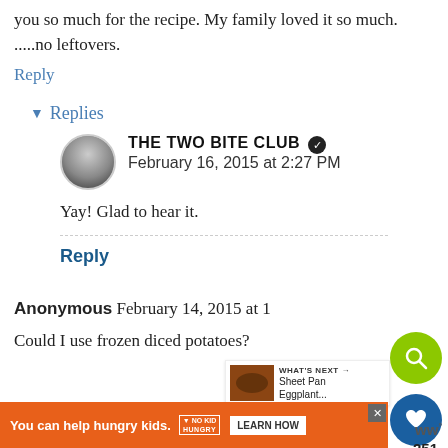you so much for the recipe. My family loved it so much. .....no leftovers.
Reply
▾ Replies
THE TWO BITE CLUB ✔ February 16, 2015 at 2:27 PM
Yay! Glad to hear it.
Reply
Anonymous February 14, 2015 at 1...
Could I use frozen diced potatoes?
[Figure (infographic): Green circular search button, blue circular heart button, share button with count 251]
[Figure (infographic): What's Next panel: Sheet Pan Eggplant... with thumbnail]
[Figure (infographic): Orange advertisement banner: You can help hungry kids. No Kid Hungry. LEARN HOW button with close X]